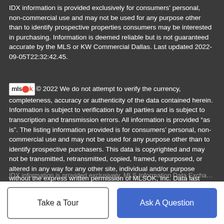IDX information is provided exclusively for consumers' personal, non-commercial use and may not be used for any purpose other than to identify prospective properties consumers may be interested in purchasing. Information is deemed reliable but is not guaranteed accurate by the MLS or KW Commercial Dallas. Last updated 2022-09-05T22:32:42.45.
© 2022 We do not attempt to verify the currency, completeness, accuracy or authenticity of the data contained herein. Information is subject to verification by all parties and is subject to transcription and transmission errors. All information is provided “as is”. The listing information provided is for consumers' personal, non-commercial use and may not be used for any purpose other than to identify prospective purchasers. This data is copyrighted and may not be transmitted, retransmitted, copied, framed, repurposed, or altered in any way for any other site, individual and/or purpose without the express written permission of MLSOK, Inc. Data last updated: 2022-09-
IDX information is provided exclusively. MLS Information Data Exchange fed...
Take a Tour
Ask A Question